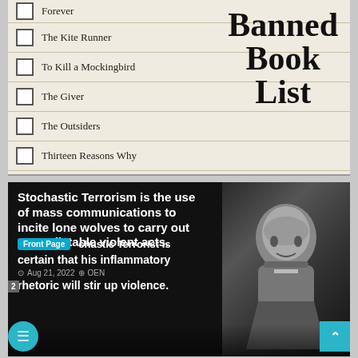[Figure (infographic): Banned Book List checklist with book titles including Forever, The Kite Runner, To Kill a Mockingbird, The Giver, The Outsiders, Thirteen Reasons Why, Harry Potter series, George, The Hate U Give, The Grapes of Wrath, The Color Purple. Large bold text reads 'Banned Book List'. Front Page badge, date Aug 21 2022, author OEN shown.]
[Figure (infographic): Black background image with bold white text: 'Stochastic Terrorism is the use of mass communications to incite lone wolves to carry out unpredictable violent acts. The Stochastic Terrorist is certain that his inflammatory rhetoric will stir up violence.' Front Page badge, date Aug 21 2022, OEN. Photo of Trump in dark monochrome on the right side.]